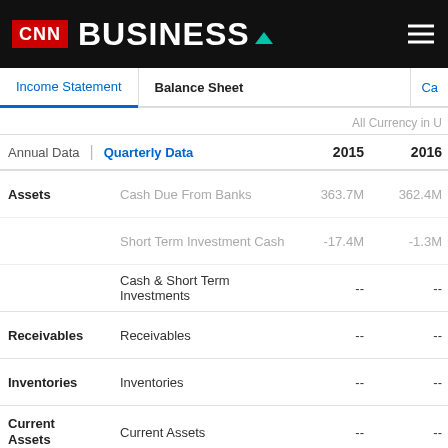CNN Business
Balance Sheet — Annual Data | Quarterly Data
All Currency in U
| Category | Item | 2015 | 2016 |
| --- | --- | --- | --- |
| Assets | Cash Due From Banks | 363.7M | 362.4M |
| Assets | Short Term Investment Cash | -17.4M | -1.3M |
| Assets | Cash & Short Term Investments | -- | -- |
| Receivables | Receivables | -- | -- |
| Inventories | Inventories | -- | -- |
| Current Assets | Current Assets | -- | -- |
| Total Assets | Intangible Assets | 684.5M | 672.3M |
| Total Assets | Other Assets | 1.9B | 1.6B |